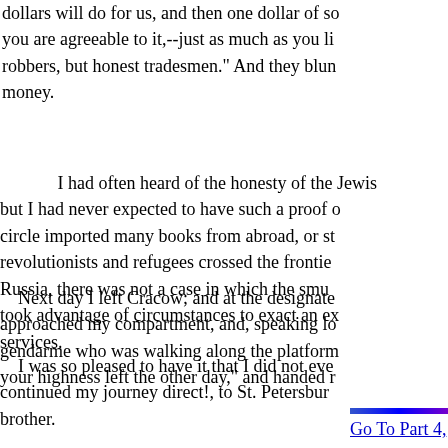dollars will do for us, and then one dollar of so you are agreeable to it,--just as much as you li robbers, but honest tradesmen." And they blun money.
I had often heard of the honesty of the Jewis but I had never expected to have such a proof o circle imported many books from abroad, or st revolutionists and refugees crossed the frontie Russia, there was not a case in which the smu took advantage of circumstances to exact an ex services.
Next day I left Cracow; and at the designate approached my compartment, and, speaking lo gendarme who was walking along the platform your highness left the other day," and handed r
I was so pleased to have it that I did not eve continued my journey direct!, to St. Petersbur brother.
Go To Part 4, Chapter XII
Return to Contents
Return to Anarchist Archives